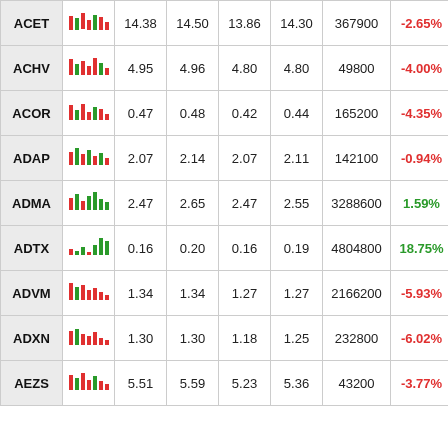| Symbol | Chart | Open | High | Low | Close | Volume | Change% |
| --- | --- | --- | --- | --- | --- | --- | --- |
| ACET | sparkline | 14.38 | 14.50 | 13.86 | 14.30 | 367900 | -2.65% |
| ACHV | sparkline | 4.95 | 4.96 | 4.80 | 4.80 | 49800 | -4.00% |
| ACOR | sparkline | 0.47 | 0.48 | 0.42 | 0.44 | 165200 | -4.35% |
| ADAP | sparkline | 2.07 | 2.14 | 2.07 | 2.11 | 142100 | -0.94% |
| ADMA | sparkline | 2.47 | 2.65 | 2.47 | 2.55 | 3288600 | 1.59% |
| ADTX | sparkline | 0.16 | 0.20 | 0.16 | 0.19 | 4804800 | 18.75% |
| ADVM | sparkline | 1.34 | 1.34 | 1.27 | 1.27 | 2166200 | -5.93% |
| ADXN | sparkline | 1.30 | 1.30 | 1.18 | 1.25 | 232800 | -6.02% |
| AEZS | sparkline | 5.51 | 5.59 | 5.23 | 5.36 | 43200 | -3.77% |